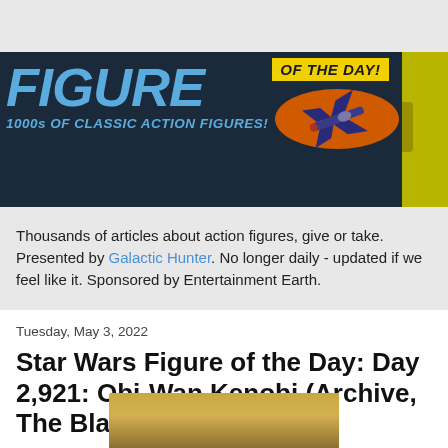[Figure (illustration): Figure of the Day banner with blue FIGURE text, OF THE DAY! yellow box, orange oval with X-Wing spaceship, and yellow-tinted action figure image on right]
Thousands of articles about action figures, give or take. Presented by Galactic Hunter. No longer daily - updated if we feel like it. Sponsored by Entertainment Earth.
Tuesday, May 3, 2022
Star Wars Figure of the Day: Day 2,921: Obi-Wan Kenobi (Archive, The Black Series 6-Inch)
[Figure (photo): Partial photo of Obi-Wan Kenobi action figure showing golden/blonde hair at bottom of page]